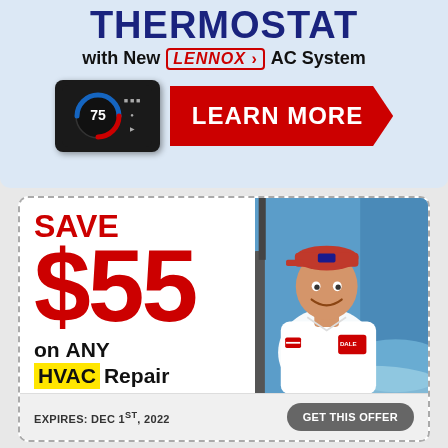THERMOSTAT
with New LENNOX AC System
[Figure (illustration): Red arrow-shaped LEARN MORE button with a smart thermostat device showing 75 degrees]
[Figure (photo): HVAC technician smiling in vehicle, wearing company uniform and cap]
SAVE $55 on ANY HVAC Repair
(Restrictions apply. See offer for details)
EXPIRES: DEC 1ST, 2022
GET THIS OFFER